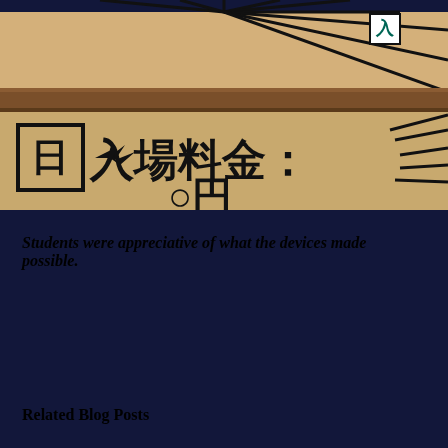[Figure (photo): A hand-drawn sign on cardboard with Japanese characters reading '入場料金' (admission fee) with decorative sunburst/starburst lines around the text. A wooden beam/shelf is visible across the middle of the image.]
Students were appreciative of what the devices made possible.
Related Blog Posts